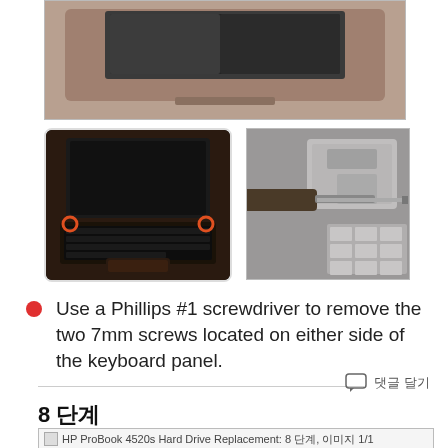[Figure (photo): Top portion of laptop viewed from above, dark brown/copper lid color]
[Figure (photo): HP ProBook laptop open with keyboard visible, orange/red circles highlighting screw locations on either side of keyboard panel]
[Figure (photo): Close-up of screwdriver being used inside laptop hardware compartment]
Use a Phillips #1 screwdriver to remove the two 7mm screws located on either side of the keyboard panel.
댓글 달기
8 단계
[Figure (photo): HP ProBook 4520s Hard Drive Replacement: 8 단계, 이미지 1/1]